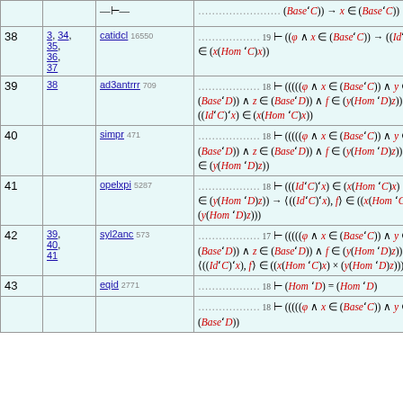| # | Refs | Command | Formula |
| --- | --- | --- | --- |
|  |  | —⊢— | (Base'C)) → x ∈ (Base'C)) |
| 38 | 3, 34, 35, 36, 37 | catidcl 16550 | 19 ⊢ ((φ ∧ x ∈ (Base'C)) → ((Id'C)'x) ∈ (x(Hom 'C)x)) |
| 39 | 38 | ad3antrrr 709 | 18 ⊢ ((((( φ ∧ x ∈ (Base'C)) ∧ y ∈ (Base'D)) ∧ z ∈ (Base'D)) ∧ f ∈ (y(Hom 'D)z)) → ((Id'C)'x) ∈ (x(Hom 'C)x)) |
| 40 |  | simpr 471 | 18 ⊢ (((((φ ∧ x ∈ (Base'C)) ∧ y ∈ (Base'D)) ∧ z ∈ (Base'D)) ∧ f ∈ (y(Hom 'D)z)) → f ∈ (y(Hom 'D)z)) |
| 41 |  | opelxpi 5287 | 18 ⊢ ((((Id'C)'x) ∈ (x(Hom 'C)x) ∧ f ∈ (y(Hom 'D)z)) → ⟨((Id'C)'x), f⟩ ∈ ((x(Hom 'C)x) × (y(Hom 'D)z))) |
| 42 | 39, 40, 41 | syl2anc 573 | 17 ⊢ ((((( φ ∧ x ∈ (Base'C)) ∧ y ∈ (Base'D)) ∧ z ∈ (Base'D)) ∧ f ∈ (y(Hom 'D)z)) → ⟨((Id'C)'x), f⟩ ∈ ((x(Hom 'C)x) × (y(Hom 'D)z))) |
| 43 |  | eqid 2771 | 18 ⊢ (Hom 'D) = (Hom 'D) |
|  |  |  | 18 ⊢ (((((φ ∧ x ∈ (Base'C)) ∧ y ∈ (Base'D)) ... |